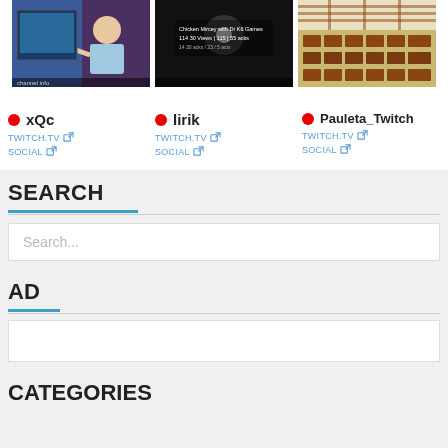[Figure (screenshot): Thumbnail of xQc Twitch stream showing a person pointing at a screen]
[Figure (screenshot): Thumbnail of lirik Twitch stream showing dark scene with text overlay]
[Figure (screenshot): Thumbnail of Pauleta_Twitch stream showing rows of chairs/desks in a room]
● xQc
TWITCH.TV
SOCIAL
● lirik
TWITCH.TV
SOCIAL
● Pauleta_Twitch
TWITCH.TV
SOCIAL
SEARCH
Search...
AD
CATEGORIES